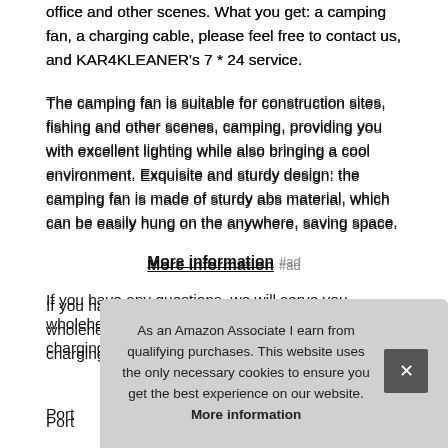office and other scenes. What you get: a camping fan, a charging cable, please feel free to contact us, and KAR4KLEANER's 7 * 24 service.
The camping fan is suitable for construction sites, fishing and other scenes, camping, providing you with excellent lighting while also bringing a cool environment. Exquisite and sturdy design: the camping fan is made of sturdy abs material, which can be easily hung on the anywhere, saving space.
More information #ad
If you have any questions, we will serve you wholeheartedly. Can be used normally during charging. There are 4 battery indicators and easy
Portable camping fan adopts professional and high
As an Amazon Associate I earn from qualifying purchases. This website uses the only necessary cookies to ensure you get the best experience on our website. More information